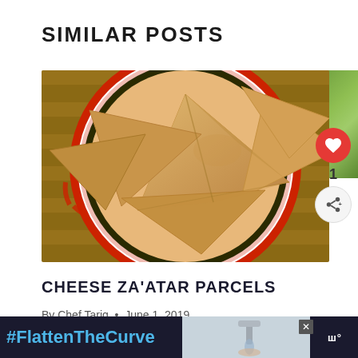SIMILAR POSTS
[Figure (photo): Overhead photo of cheese za'atar pastry parcels (triangular folded dough) on a decorative red and black plate with a bamboo mat beneath]
[Figure (photo): Side strip showing partial green leafy background on the right edge]
CHEESE ZA'ATAR PARCELS
By Chef Tariq • June 1, 2019
[Figure (screenshot): Advertisement banner at bottom: #FlattenTheCurve with faucet/handwashing image and close button]